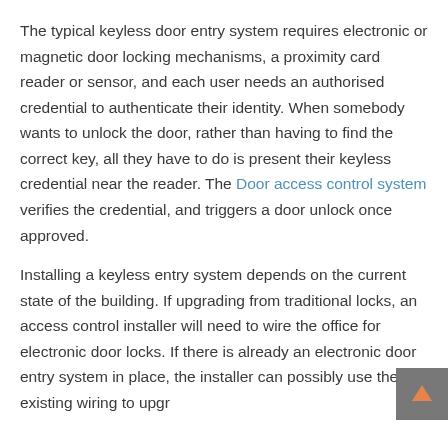The typical keyless door entry system requires electronic or magnetic door locking mechanisms, a proximity card reader or sensor, and each user needs an authorised credential to authenticate their identity. When somebody wants to unlock the door, rather than having to find the correct key, all they have to do is present their keyless credential near the reader. The Door access control system verifies the credential, and triggers a door unlock once approved.
Installing a keyless entry system depends on the current state of the building. If upgrading from traditional locks, an access control installer will need to wire the office for electronic door locks. If there is already an electronic door entry system in place, the installer can possibly use the existing wiring to upgrade the system, and there will also be a